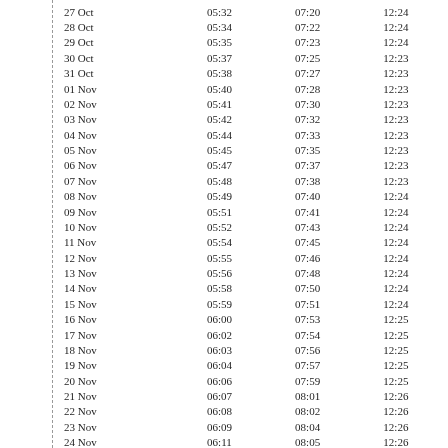| 27 Oct | 05:32 | 07:20 | 12:24 |
| 28 Oct | 05:34 | 07:22 | 12:24 |
| 29 Oct | 05:35 | 07:23 | 12:24 |
| 30 Oct | 05:37 | 07:25 | 12:23 |
| 31 Oct | 05:38 | 07:27 | 12:23 |
| 01 Nov | 05:40 | 07:28 | 12:23 |
| 02 Nov | 05:41 | 07:30 | 12:23 |
| 03 Nov | 05:42 | 07:32 | 12:23 |
| 04 Nov | 05:44 | 07:33 | 12:23 |
| 05 Nov | 05:45 | 07:35 | 12:23 |
| 06 Nov | 05:47 | 07:37 | 12:23 |
| 07 Nov | 05:48 | 07:38 | 12:23 |
| 08 Nov | 05:49 | 07:40 | 12:24 |
| 09 Nov | 05:51 | 07:41 | 12:24 |
| 10 Nov | 05:52 | 07:43 | 12:24 |
| 11 Nov | 05:54 | 07:45 | 12:24 |
| 12 Nov | 05:55 | 07:46 | 12:24 |
| 13 Nov | 05:56 | 07:48 | 12:24 |
| 14 Nov | 05:58 | 07:50 | 12:24 |
| 15 Nov | 05:59 | 07:51 | 12:24 |
| 16 Nov | 06:00 | 07:53 | 12:25 |
| 17 Nov | 06:02 | 07:54 | 12:25 |
| 18 Nov | 06:03 | 07:56 | 12:25 |
| 19 Nov | 06:04 | 07:57 | 12:25 |
| 20 Nov | 06:06 | 07:59 | 12:25 |
| 21 Nov | 06:07 | 08:01 | 12:26 |
| 22 Nov | 06:08 | 08:02 | 12:26 |
| 23 Nov | 06:09 | 08:04 | 12:26 |
| 24 Nov | 06:11 | 08:05 | 12:26 |
| 25 Nov | 06:12 | 08:07 | 12:27 |
| 26 Nov | 06:13 | 08:08 | 12:27 |
| 27 Nov | 06:14 | 08:09 | 12:27 |